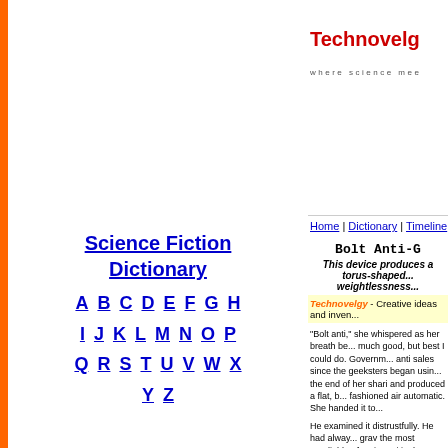[Figure (logo): Technovelgy logo with honeycomb pattern, red text 'Technovelgy' and tagline 'where science mee...']
Home | Dictionary | Timeline | New
Science Fiction Dictionary
A B C D E F G H I J K L M N O P Q R S T U V W X Y Z
Bolt Anti-G...
This device produces a torus-shaped... weightlessness...
Technovelgy - Creative ideas and inven...
"Bolt anti," she whispered as her breath be... much good, but best I could do. Governm... anti sales since the geeksters began usin... the end of her shari and produced a flat, b... fashioned air automatic. She handed it to...
He examined it distrustfully. He had alway... grav the most unreliable of anti-gravitic de... commercial use (most strictly supervised,... raubsters had discovered their value in ma... goods) were perfectly safe. But the bolt an... different principle. Its "doughnut" discharg... material physicists called a reversed stasi... The object in consequence became weigh... that the consequence after freeti...